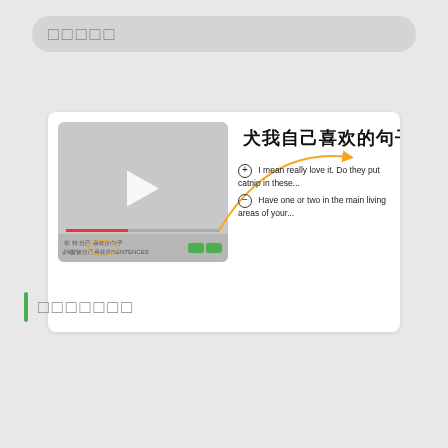□□□□□
[Figure (screenshot): Screenshot showing a video player thumbnail with Chinese text, play button, progress bar, and annotation arrow pointing to content list with two items: 'I mean really love it. Do they put catnip in these...' and 'Have one or two in the main living areas of your...']
□□□□□□□
[Figure (photo): Travel guide card with Eiffel Tower silhouette, trees, and 'TRAVEL GUIDE' text in yellow-bordered frame on a scenic blue-green background]